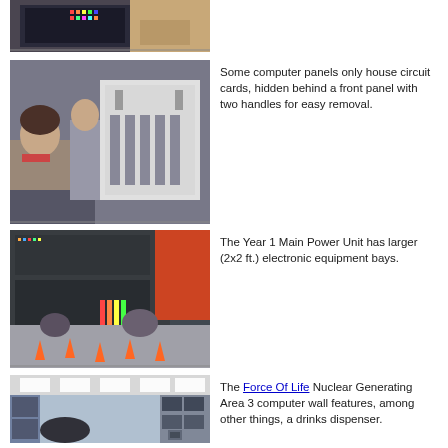[Figure (photo): Person's hand on computer panel with colorful lights/indicators, cropped at top of page]
[Figure (photo): Two people in a room with open computer panel showing circuit card housing with two handles, one person seated at console, one standing]
Some computer panels only house circuit cards, hidden behind a front panel with two handles for easy removal.
[Figure (photo): Year 1 Main Power Unit scene with people around a large detailed model, control panels with larger electronic equipment bays in background]
The Year 1 Main Power Unit has larger (2x2 ft.) electronic equipment bays.
[Figure (photo): Force Of Life Nuclear Generating Area 3 computer wall corridor with ceiling lights and a drinks dispenser]
The Force Of Life Nuclear Generating Area 3 computer wall features, among other things, a drinks dispenser.